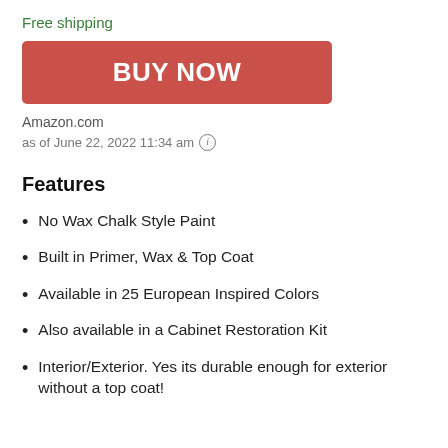Free shipping
BUY NOW
Amazon.com
as of June 22, 2022 11:34 am ⓘ
Features
No Wax Chalk Style Paint
Built in Primer, Wax & Top Coat
Available in 25 European Inspired Colors
Also available in a Cabinet Restoration Kit
Interior/Exterior. Yes its durable enough for exterior without a top coat!